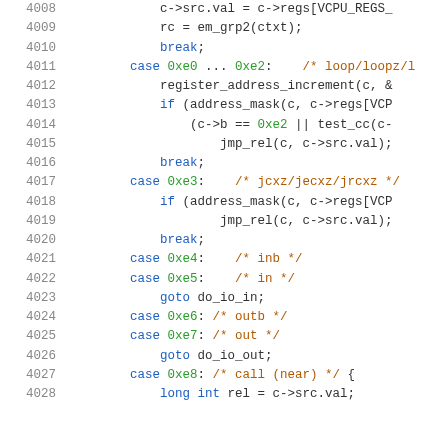[Figure (screenshot): Source code listing showing C code lines 4008-4028 with syntax highlighting. Line numbers in gray on left, keywords in blue, hex values in green, comments in orange/brown.]